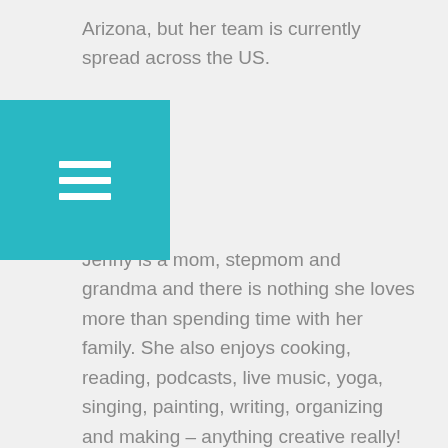Arizona, but her team is currently spread across the US.
Jenny is a mom, stepmom and grandma and there is nothing she loves more than spending time with her family. She also enjoys cooking, reading, podcasts, live music, yoga, singing, painting, writing, organizing and making – anything creative really!
Jenny is passionate about researching and sharing information on a wide variety of topics. Some of her current projects are focused on specific issues and causes she cares about, such as: mental health…